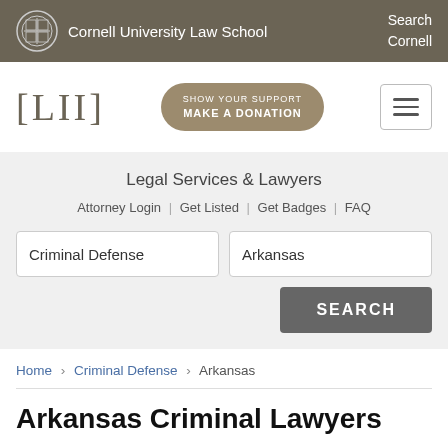Cornell University Law School | Search Cornell
[Figure (logo): LII Legal Information Institute logo with [LII] text and Cornell University Law School branding]
SHOW YOUR SUPPORT MAKE A DONATION
Legal Services & Lawyers
Attorney Login | Get Listed | Get Badges | FAQ
Criminal Defense | Arkansas
SEARCH
Home > Criminal Defense > Arkansas
Arkansas Criminal Lawyers